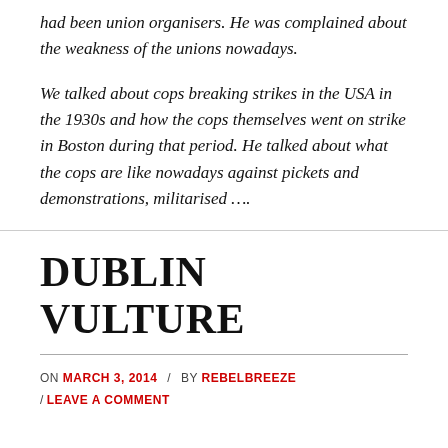had been union organisers.  He was complained about the weakness of the unions nowadays.
We talked about cops breaking strikes in the USA in the 1930s and how the cops themselves went on strike in Boston during that period.  He talked about what the cops are like nowadays against pickets and demonstrations, militarised ….
DUBLIN VULTURE
ON MARCH 3, 2014 / BY REBELBREEZE / LEAVE A COMMENT